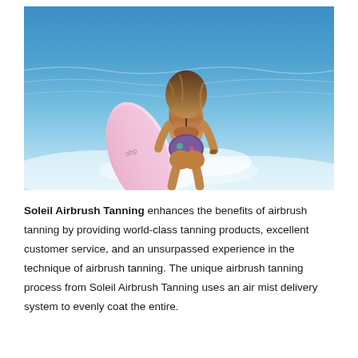[Figure (photo): A woman in a bikini holding a pink surfboard walking into ocean waves, viewed from behind, with blue ocean in the background.]
Soleil Airbrush Tanning enhances the benefits of airbrush tanning by providing world-class tanning products, excellent customer service, and an unsurpassed experience in the technique of airbrush tanning. The unique airbrush tanning process from Soleil Airbrush Tanning uses an air mist delivery system to evenly coat the entire.